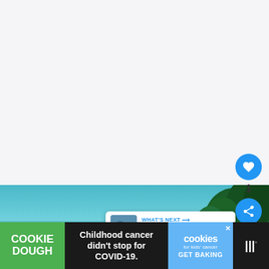[Figure (photo): White/light gray background area - top portion of webpage]
[Figure (photo): Tropical beach scene with turquoise water, sandy shore, and dense green tropical foliage/trees under a clear blue sky]
[Figure (infographic): Blue circular heart/like button with white heart icon, showing count of 1 below it, and a blue circular share button with white share icon]
[Figure (infographic): What's Next card showing thumbnail image and text: WHAT'S NEXT → 54 Cool Things to do...]
[Figure (infographic): Advertisement banner: COOKIE DOUGH green section, center text 'Childhood cancer didn't stop for COVID-19.', cookies for kids cancer GET BAKING section with X close button, and MW logo]